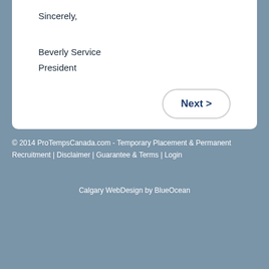Sincerely,
Beverly Service
President
Next >
© 2014 ProTempsCanada.com - Temporary Placement & Permanent Recruitment | Disclaimer | Guarantee & Terms | Login
Calgary WebDesign by BlueOcean